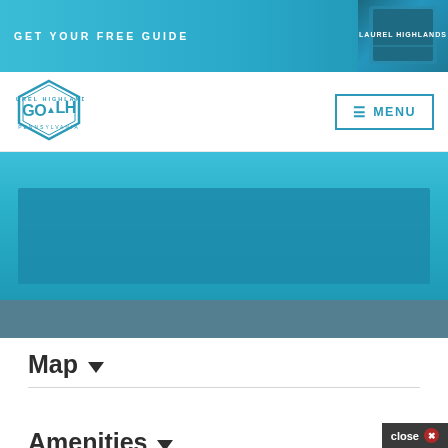GET YOUR FREE GUIDE
[Figure (logo): GO LH Laurel Highlands logo badge hexagon]
[Figure (screenshot): Menu navigation button with hamburger icon]
[Figure (photo): Blue/teal content area with map or guide image placeholder]
Map ▼
Amenities ▼
close ✕